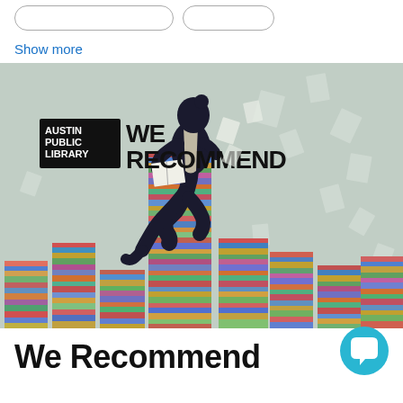Show more
[Figure (illustration): Austin Public Library 'We Recommend' promotional banner image showing a silhouette of a person sitting atop a tall stack of colorful books, reading, with papers floating in the air. The background is a muted teal/grey tone. In the upper left is a black box with 'AUSTIN PUBLIC LIBRARY' text and beside it large text reading 'WE RECOMMEND'.]
We Recommend